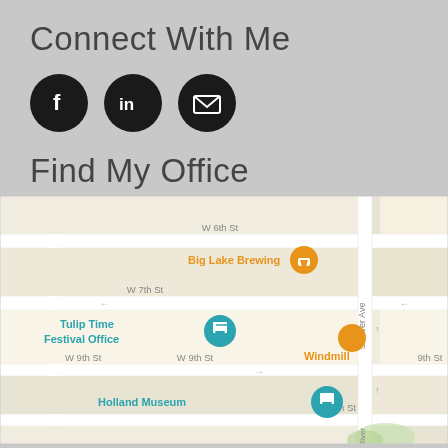Connect With Me
[Figure (infographic): Three social media icon circles: Facebook (f), LinkedIn (in), Email (envelope icon), all dark/black circles with white icons]
Find My Office
[Figure (map): Google Maps screenshot showing Holland, MI area around S River Ave, with pins for: Big Lake Brewing, Tulip Time Festival Office, Windmill, Lemonjello's Coffee, New Holland Brewing - Pub on 8th, Hops at 84 Eas, Holland Museum, A. Paul Schaap Science Center. Streets shown: W 6th St, E 6th St, W 7th St, E 7th St, W 9th St, 9th St, W 10th St, E 10th St, S River Ave]